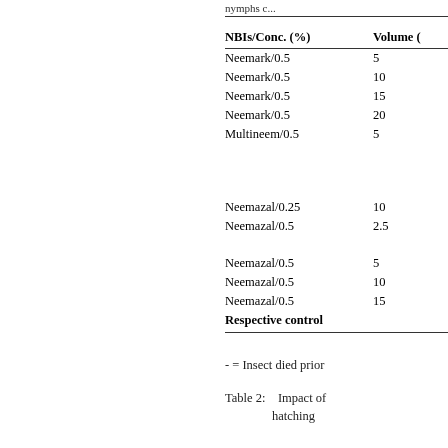Nymphs c...
| NBIs/Conc. (%) | Volume ( |
| --- | --- |
| Neemark/0.5 | 5 |
| Neemark/0.5 | 10 |
| Neemark/0.5 | 15 |
| Neemark/0.5 | 20 |
| Multineem/0.5 | 5 |
|  |  |
| Neemazal/0.25 | 10 |
| Neemazal/0.5 | 2.5 |
|  |  |
| Neemazal/0.5 | 5 |
| Neemazal/0.5 | 10 |
| Neemazal/0.5 | 15 |
| Respective control |  |
- = Insect died prior
Table 2:    Impact of hatching